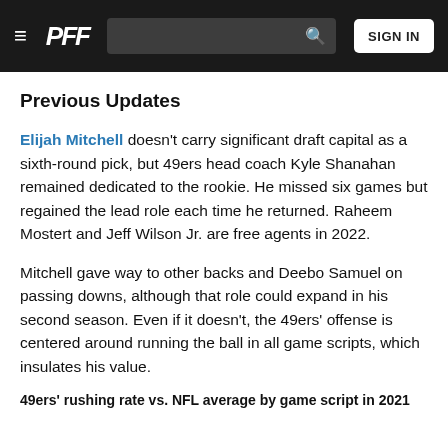PFF | SIGN IN
Previous Updates
Elijah Mitchell doesn't carry significant draft capital as a sixth-round pick, but 49ers head coach Kyle Shanahan remained dedicated to the rookie. He missed six games but regained the lead role each time he returned. Raheem Mostert and Jeff Wilson Jr. are free agents in 2022.
Mitchell gave way to other backs and Deebo Samuel on passing downs, although that role could expand in his second season. Even if it doesn't, the 49ers' offense is centered around running the ball in all game scripts, which insulates his value.
49ers' rushing rate vs. NFL average by game script in 2021